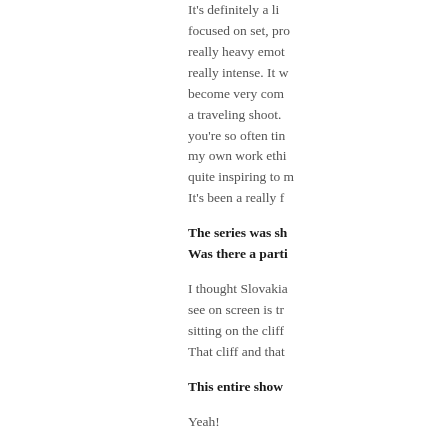It's definitely a li... focused on set, pro... really heavy emot... really intense. It w... become very com... a traveling shoot. ... you're so often tir... my own work ethi... quite inspiring to m... It's been a really f...
The series was sh... Was there a parti...
I thought Slovakia... see on screen is tr... sitting on the cliff ... That cliff and that...
This entire show...
Yeah!